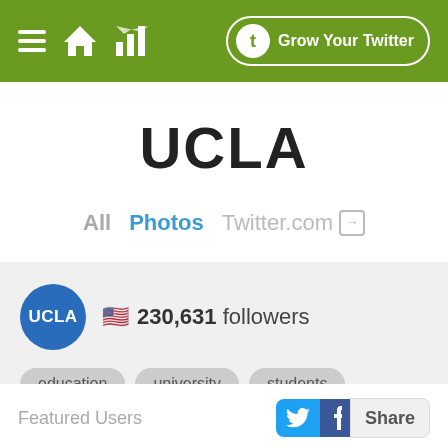Grow Your Twitter
UCLA
All  Photos  Twitter.com →
🇺🇸 230,631 followers
education
university
students
learning
graduates
Featured Users  Share